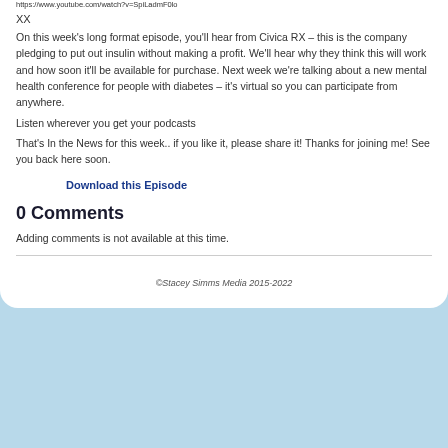https://www.youtube.com/watch?v=SpiLadmF0lo
XX
On this week's long format episode, you'll hear from Civica RX – this is the company pledging to put out insulin without making a profit. We'll hear why they think this will work and how soon it'll be available for purchase. Next week we're talking about a new mental health conference for people with diabetes – it's virtual so you can participate from anywhere.
Listen wherever you get your podcasts
That's In the News for this week.. if you like it, please share it! Thanks for joining me! See you back here soon.
Download this Episode
0 Comments
Adding comments is not available at this time.
©Stacey Simms Media 2015-2022